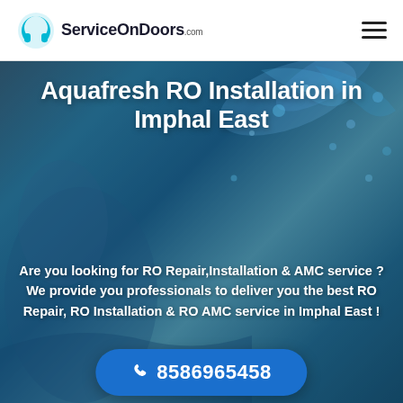ServiceOnDoors.com
Aquafresh RO Installation in Imphal East
Are you looking for RO Repair,Installation & AMC service ? We provide you professionals to deliver you the best RO Repair, RO Installation & RO AMC service in Imphal East !
8586965458